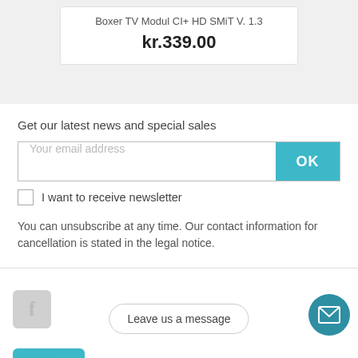Boxer TV Modul CI+ HD SMiT V. 1.3
kr.339.00
Get our latest news and special sales
Your email address
OK
I want to receive newsletter
You can unsubscribe at any time. Our contact information for cancellation is stated in the legal notice.
[Figure (logo): Facebook icon placeholder (grey square with 'f')]
[Figure (logo): Ecommerce Europe trust badge (blue badge with eye/star motif)]
Leave us a message
[Figure (illustration): Circular teal button with envelope/mail icon]